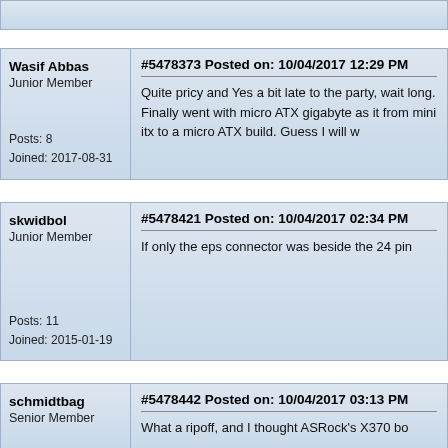[top bar partial post]
Wasif Abbas
Junior Member
Posts: 8
Joined: 2017-08-31
#5478373 Posted on: 10/04/2017 12:29 PM
Quite pricy and Yes a bit late to the party, wait long. Finally went with micro ATX gigabyte as it from mini itx to a micro ATX build. Guess I will w
skwidbol
Junior Member
Posts: 11
Joined: 2015-01-19
#5478421 Posted on: 10/04/2017 02:34 PM
If only the eps connector was beside the 24 pin
schmidtbag
Senior Member
#5478442 Posted on: 10/04/2017 03:13 PM
What a ripoff, and I thought ASRock's X370 bo